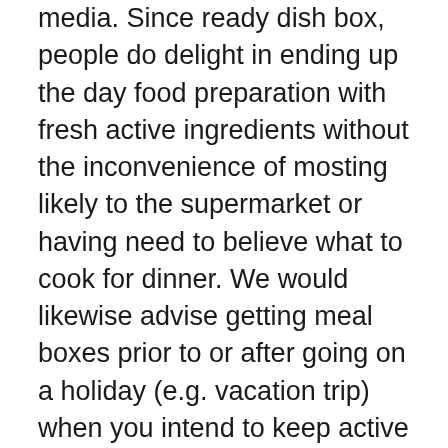media. Since ready dish box, people do delight in ending up the day food preparation with fresh active ingredients without the inconvenience of mosting likely to the supermarket or having need to believe what to cook for dinner. We would likewise advise getting meal boxes prior to or after going on a holiday (e.g. vacation trip) when you intend to keep active ingredients in the fridge to be clean without any leftover veggies!
4. Easy to cancel or miss your orders
It is essential for me to advise you that when you register with Marley Spoon or any other meal box solutions, you are singing up to a recurring weekly soft-subscription solution.Gest you add that it's generally the best